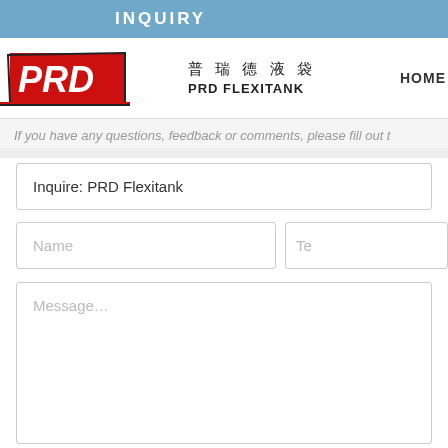INQUIRY
[Figure (logo): PRD Flexitank logo — red stylized PRD letters with black outline on white background]
普瑞德液袋 PRD FLEXITANK
HOME   ABOUT US
If you have any questions, feedback or comments, please fill out t...
Inquire: PRD Flexitank
Name
Te...
Message…